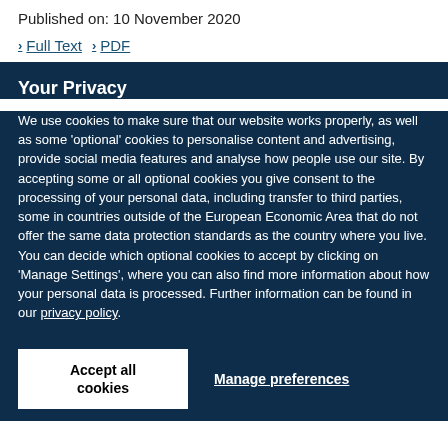Published on: 10 November 2020
Full Text
PDF
Your Privacy
We use cookies to make sure that our website works properly, as well as some 'optional' cookies to personalise content and advertising, provide social media features and analyse how people use our site. By accepting some or all optional cookies you give consent to the processing of your personal data, including transfer to third parties, some in countries outside of the European Economic Area that do not offer the same data protection standards as the country where you live. You can decide which optional cookies to accept by clicking on 'Manage Settings', where you can also find more information about how your personal data is processed. Further information can be found in our privacy policy.
Accept all cookies
Manage preferences